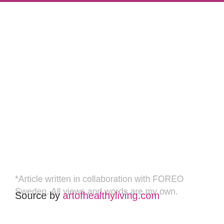things I need to be doing. And there's nothing nicer than starting off the day with a fresh face, it literally makes you feel invigorated and energized, as though you can literally face anything (excuse the pun!) So yeah, I might feel still feel like a tired mum, but I certainly don't look like one anymore.
*Article written in collaboration with FOREO Sweden. All views and words are my own.
Source by artofhealthyliving.com